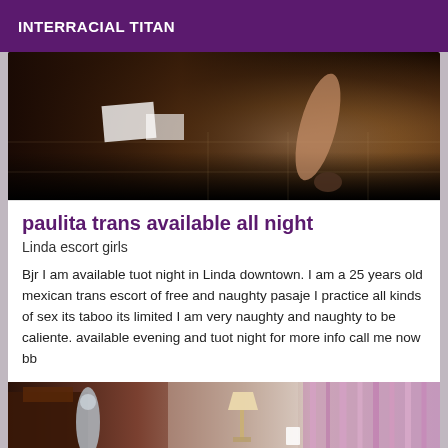INTERRACIAL TITAN
[Figure (photo): Dark photo showing a tiled floor with a person's leg and foot visible, with white paper/cloth items on the floor]
paulita trans available all night
Linda escort girls
Bjr I am available tuot night in Linda downtown. I am a 25 years old mexican trans escort of free and naughty pasaje I practice all kinds of sex its taboo its limited I am very naughty and naughty to be caliente. available evening and tuot night for more info call me now bb
[Figure (photo): Partial view of a room interior with a lamp, dark furniture on the left, and pink/purple curtains on the right]